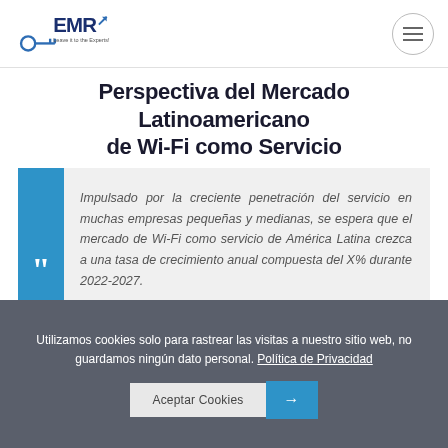EMR - Leave it to the Experts
Perspectiva del Mercado Latinoamericano de Wi-Fi como Servicio
Impulsado por la creciente penetración del servicio en muchas empresas pequeñas y medianas, se espera que el mercado de Wi-Fi como servicio de América Latina crezca a una tasa de crecimiento anual compuesta del X% durante 2022-2027.
Utilizamos cookies solo para rastrear las visitas a nuestro sitio web, no guardamos ningún dato personal. Política de Privacidad